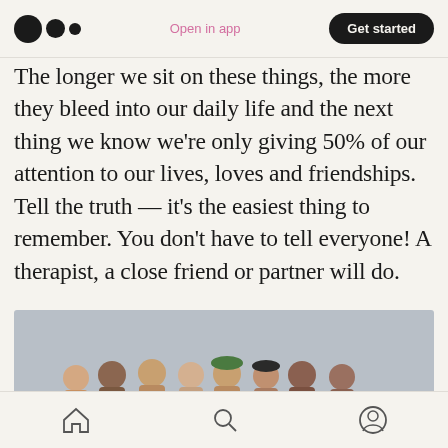Open in app  Get started
The longer we sit on these things, the more they bleed into our daily life and the next thing we know we're only giving 50% of our attention to our lives, loves and friendships. Tell the truth — it's the easiest thing to remember. You don't have to tell everyone! A therapist, a close friend or partner will do.
[Figure (photo): Group of eight shirtless men standing together on a beach with overcast grey sky and ocean in the background, arms around each other, smiling.]